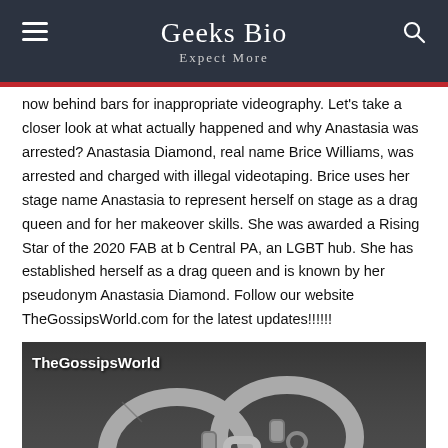Geeks Bio
Expect More
now behind bars for inappropriate videography. Let's take a closer look at what actually happened and why Anastasia was arrested? Anastasia Diamond, real name Brice Williams, was arrested and charged with illegal videotaping. Brice uses her stage name Anastasia to represent herself on stage as a drag queen and for her makeover skills. She was awarded a Rising Star of the 2020 FAB at b Central PA, an LGBT hub. She has established herself as a drag queen and is known by her pseudonym Anastasia Diamond. Follow our website TheGossipsWorld.com for the latest updates!!!!!!
[Figure (photo): Black and white photo of handcuffs with TheGossipsWorld watermark in top left]